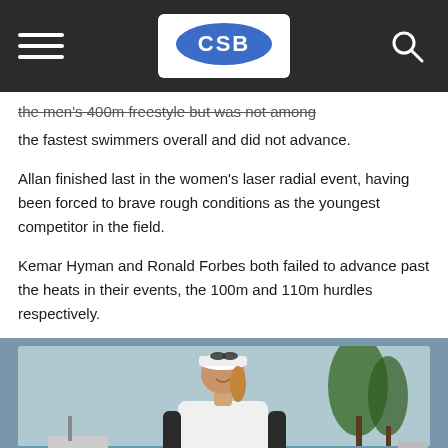CSB (logo)
the men's 400m freestyle but was not among the fastest swimmers overall and did not advance.
Allan finished last in the women's laser radial event, having been forced to brave rough conditions as the youngest competitor in the field.
Kemar Hyman and Ronald Forbes both failed to advance past the heats in their events, the 100m and 110m hurdles respectively.
[Figure (photo): A young woman wearing a white Rio 2016 Olympics vest and a white visor with sunglasses on top, smiling at a marina/sailing venue. Palm trees and boats visible in the background.]